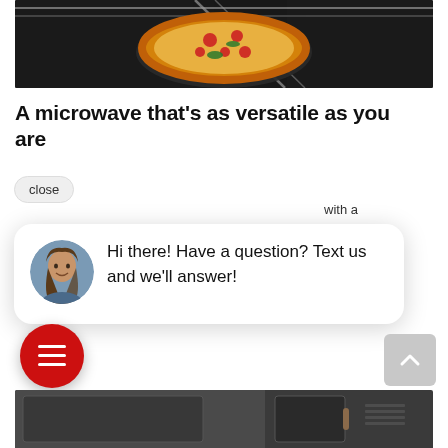[Figure (photo): Pizza on a dark baking tray inside an oven with metal rack grill visible at the top of the crop]
A microwave that's as versatile as you are
close
...with a ...ial rack ...ods for
[Figure (screenshot): Chat widget popup showing a female customer service avatar with message: Hi there! Have a question? Text us and we'll answer!]
[Figure (screenshot): Red circular chat button icon with three horizontal white lines (menu/chat icon), and a grey scroll-to-top button with upward arrow]
[Figure (photo): Bottom portion of a dark grey commercial kitchen appliance/microwave oven, partially visible]